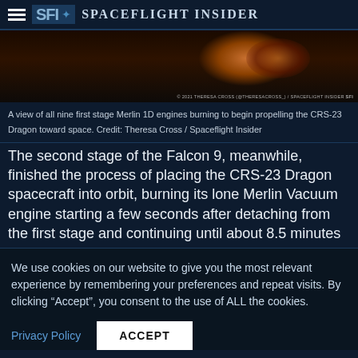Spaceflight Insider
[Figure (photo): A dark photograph showing rocket engines burning with an orange glow, viewed from below. A copyright watermark reads: © 2021 THERESA CROSS (@THERESACROSS_) / SPACEFLIGHT INSIDER SFI]
A view of all nine first stage Merlin 1D engines burning to begin propelling the CRS-23 Dragon toward space. Credit: Theresa Cross / Spaceflight Insider
The second stage of the Falcon 9, meanwhile, finished the process of placing the CRS-23 Dragon spacecraft into orbit, burning its lone Merlin Vacuum engine starting a few seconds after detaching from the first stage and continuing until about 8.5 minutes
We use cookies on our website to give you the most relevant experience by remembering your preferences and repeat visits. By clicking “Accept”, you consent to the use of ALL the cookies.
Privacy Policy | ACCEPT